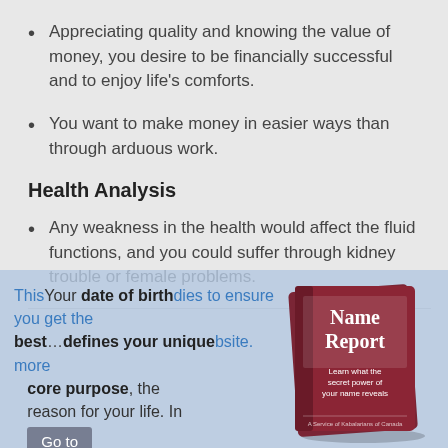Appreciating quality and knowing the value of money, you desire to be financially successful and to enjoy life's comforts.
You want to make money in easier ways than through arduous work.
Health Analysis
Any weakness in the health would affect the fluid functions, and you could suffer through kidney trouble or female problems.
[Figure (illustration): Promotional overlay showing a book titled 'Name Report: Learn what the secret power of your name reveals' with overlapping text about date of birth defining unique core purpose.]